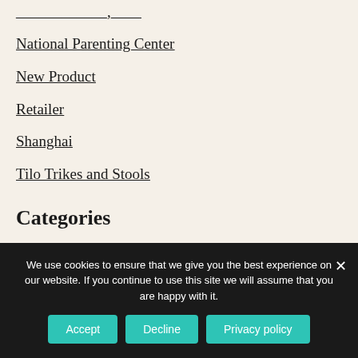National Parenting Center
New Product
Retailer
Shanghai
Tilo Trikes and Stools
Categories
Announcements
Latest Articles
We use cookies to ensure that we give you the best experience on our website. If you continue to use this site we will assume that you are happy with it.